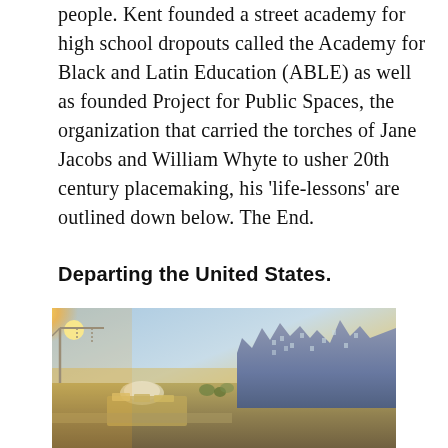people. Kent founded a street academy for high school dropouts called the Academy for Black and Latin Education (ABLE) as well as founded Project for Public Spaces, the organization that carried the torches of Jane Jacobs and William Whyte to usher 20th century placemaking, his 'life-lessons' are outlined down below. The End.
Departing the United States.
[Figure (photo): Aerial sunset photo of an urban public space or market area with buildings on the right, a crane visible on the left, warm golden light from the left side, and a mix of open plaza and structures below.]